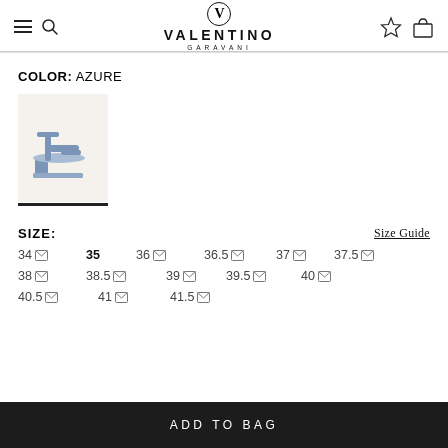VALENTINO GARAVANI
COLOR: AZURE
[Figure (photo): A blue/azure heeled sandal on a light beige background, shown from the side. The sandal has straps and a block heel.]
SIZE:
Size Guide
34 (notify icon) 35 36 (notify icon) 36.5 (notify icon) 37 (notify icon) 37.5 (notify icon)
38 (notify icon) 38.5 (notify icon) 39 (notify icon) 39.5 (notify icon) 40 (notify icon)
40.5 (notify icon) 41 (notify icon) 41.5 (notify icon)
ADD TO BAG